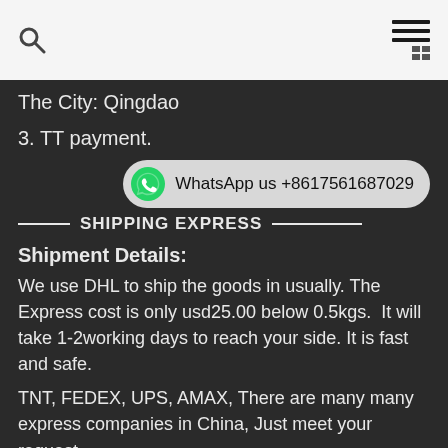Search icon | Hamburger menu | Grid icon
The City: Qingdao
3. TT payment.
[Figure (infographic): WhatsApp contact pill button showing green WhatsApp logo and text: WhatsApp us +8617561687029]
SHIPPING EXPRESS
Shipment Details:
We use DHL to ship the goods in usually. The Express cost is only usd25.00 below 0.5kgs.  It will take 1-2working days to reach your side. It is fast and safe.
TNT, FEDEX, UPS, AMAX, There are many many express companies in China, Just meet your request.